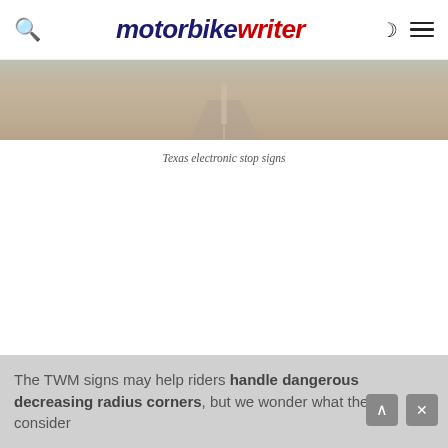motorbike writer
[Figure (photo): Partial view of a desert road scene — Texas electronic stop signs photo, cropped showing a sandy/rocky road surface]
Texas electronic stop signs
The TWM signs may help riders handle dangerous decreasing radius corners, but we wonder what they consider